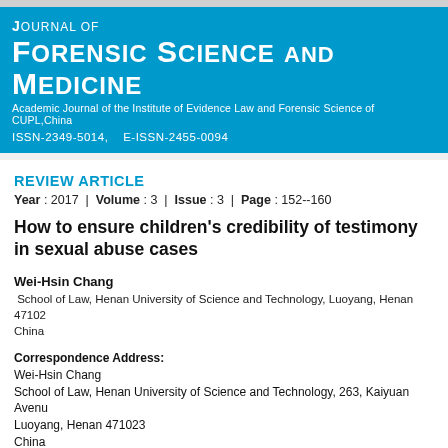Journal of Forensic Science and Medicine
Academic Journal of the Institute of Evidence Law and Forensic Science of CUPL,China
ISSN-2349-5014,   E-ISSN-2455-0094
REVIEW ARTICLE
Year : 2017 | Volume : 3 | Issue : 3 | Page : 152--160
How to ensure children's credibility of testimony in sexual abuse cases
Wei-Hsin Chang
School of Law, Henan University of Science and Technology, Luoyang, Henan 471023, China
Correspondence Address:
Wei-Hsin Chang
School of Law, Henan University of Science and Technology, 263, Kaiyuan Avenue,
Luoyang, Henan 471023
China
There were several sexual abuse cases in Taiwan where the defendants having